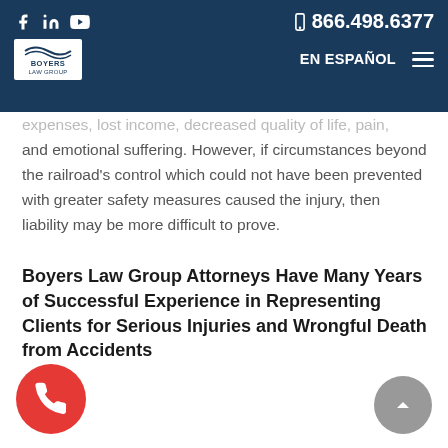f in [YouTube] | 866.498.6377 | BOYERS LAW GROUP | EN ESPAÑOL
and the lack of safety caused the accident, the railroad is clearly liable and responsible for paying compensatory damages for things such as past and future medical expenses, lost income, decreased quality of life, pain, and emotional suffering. However, if circumstances beyond the railroad's control which could not have been prevented with greater safety measures caused the injury, then liability may be more difficult to prove.
Boyers Law Group Attorneys Have Many Years of Successful Experience in Representing Clients for Serious Injuries and Wrongful Death from Accidents
train accident injury lawsuits are complex, it is best interest to get help from an experienced personal injury attorney as soon as possible. Acting